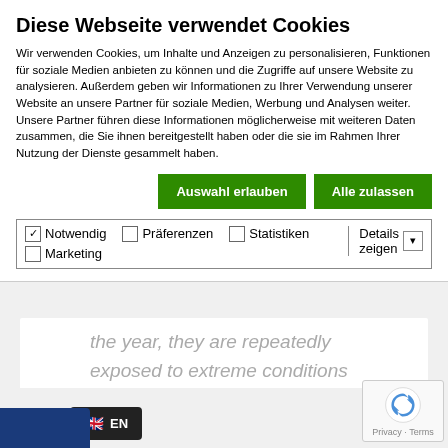Diese Webseite verwendet Cookies
Wir verwenden Cookies, um Inhalte und Anzeigen zu personalisieren, Funktionen für soziale Medien anbieten zu können und die Zugriffe auf unsere Website zu analysieren. Außerdem geben wir Informationen zu Ihrer Verwendung unserer Website an unsere Partner für soziale Medien, Werbung und Analysen weiter. Unsere Partner führen diese Informationen möglicherweise mit weiteren Daten zusammen, die Sie ihnen bereitgestellt haben oder die sie im Rahmen Ihrer Nutzung der Dienste gesammelt haben.
Auswahl erlauben
Alle zulassen
Notwendig   Präferenzen   Statistiken   Marketing   Details zeigen
the year, they are repeatedly exposed to extreme conditions and many hazards - throughout their entire lives.